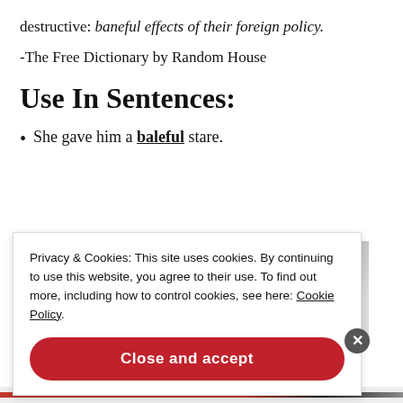destructive: baneful effects of their foreign policy.
-The Free Dictionary by Random House
Use In Sentences:
She gave him a baleful stare.
[Figure (photo): Black and white photo of a person giving a stare]
Privacy & Cookies: This site uses cookies. By continuing to use this website, you agree to their use. To find out more, including how to control cookies, see here: Cookie Policy
Close and accept